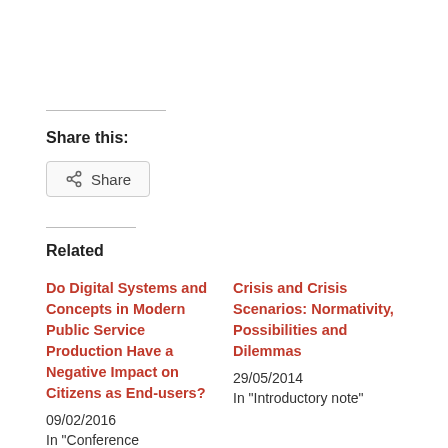Share this:
Share
Related
Do Digital Systems and Concepts in Modern Public Service Production Have a Negative Impact on Citizens as End-users?
09/02/2016
In "Conference proceedings (triple non-blind peer review)"
Crisis and Crisis Scenarios: Normativity, Possibilities and Dilemmas
29/05/2014
In "Introductory note"